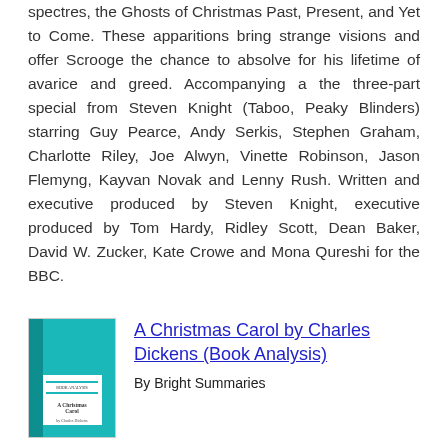spectres, the Ghosts of Christmas Past, Present, and Yet to Come. These apparitions bring strange visions and offer Scrooge the chance to absolve for his lifetime of avarice and greed. Accompanying a the three-part special from Steven Knight (Taboo, Peaky Blinders) starring Guy Pearce, Andy Serkis, Stephen Graham, Charlotte Riley, Joe Alwyn, Vinette Robinson, Jason Flemyng, Kayvan Novak and Lenny Rush. Written and executive produced by Steven Knight, executive produced by Tom Hardy, Ridley Scott, Dean Baker, David W. Zucker, Kate Crowe and Mona Qureshi for the BBC.
[Figure (illustration): Book cover of 'A Christmas Carol' with teal/turquoise background and white text box]
A Christmas Carol by Charles Dickens (Book Analysis)
By Bright Summaries